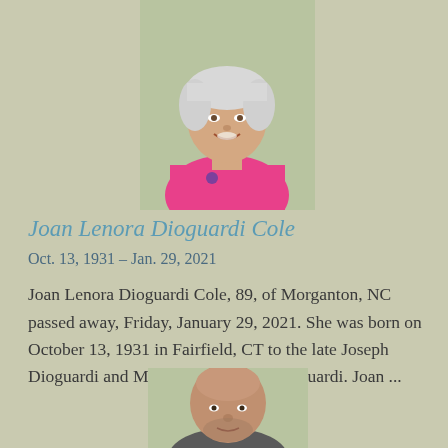[Figure (photo): Portrait photo of an elderly woman with short white hair, wearing a pink top, smiling, cropped at top of page]
Joan Lenora Dioguardi Cole
Oct. 13, 1931 – Jan. 29, 2021
Joan Lenora Dioguardi Cole, 89, of Morganton, NC passed away, Friday, January 29, 2021. She was born on October 13, 1931 in Fairfield, CT to the late Joseph Dioguardi and Mary Helen Nessel Dioguardi. Joan ...
[Figure (photo): Portrait photo of a bald man, partially visible at bottom of page]